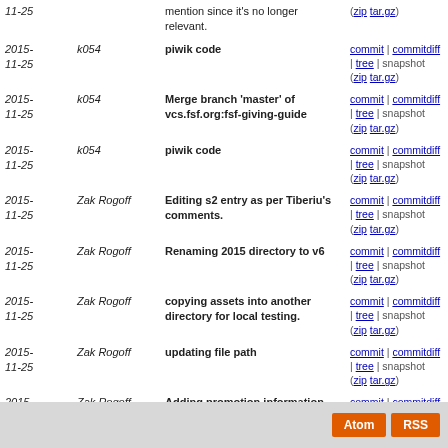| Date | Author | Message | Links |
| --- | --- | --- | --- |
| 2015-11-25 |  | mention since it's no longer relevant. | (zip tar.gz) |
| 2015-11-25 | k054 | piwik code | commit | commitdiff | tree | snapshot (zip tar.gz) |
| 2015-11-25 | k054 | Merge branch 'master' of vcs.fsf.org:fsf-giving-guide | commit | commitdiff | tree | snapshot (zip tar.gz) |
| 2015-11-25 | k054 | piwik code | commit | commitdiff | tree | snapshot (zip tar.gz) |
| 2015-11-25 | Zak Rogoff | Editing s2 entry as per Tiberiu's comments. | commit | commitdiff | tree | snapshot (zip tar.gz) |
| 2015-11-25 | Zak Rogoff | Renaming 2015 directory to v6 | commit | commitdiff | tree | snapshot (zip tar.gz) |
| 2015-11-25 | Zak Rogoff | copying assets into another directory for local testing. | commit | commitdiff | tree | snapshot (zip tar.gz) |
| 2015-11-25 | Zak Rogoff | updating file path | commit | commitdiff | tree | snapshot (zip tar.gz) |
| 2015-11-25 | Zak Rogoff | Adding promotion information. It's now ready for review. | commit | commitdiff | tree | snapshot (zip tar.gz) |
| 2015-11-25 | Zak Rogoff | Text tweaks, adding links. | commit | commitdiff | tree | snapshot (zip tar.gz) |
| 2015-11-25 | Zak Rogoff | A variety of changes, almost done now. | commit | commitdiff | tree | snapshot (zip tar.gz) |
next
Atom RSS